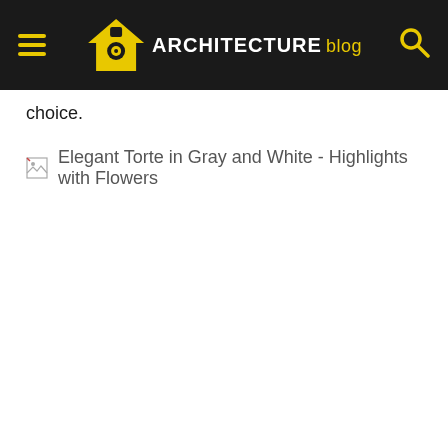ARCHITECTURE blog
choice.
[Figure (other): Broken image placeholder with alt text: Elegant Torte in Gray and White - Highlights with Flowers]